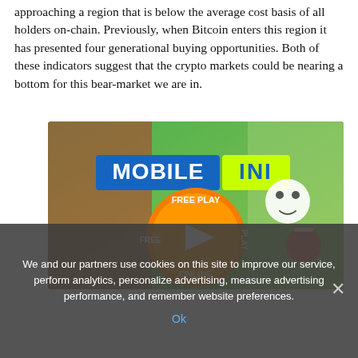approaching a region that is below the average cost basis of all holders on-chain. Previously, when Bitcoin enters this region it has presented four generational buying opportunities. Both of these indicators suggest that the crypto markets could be nearing a bottom for this bear-market we are in.
[Figure (illustration): Advertisement banner for 'MOBILE INI' featuring colorful game characters, a FREE PLAY ONLINE circular orange button with play icon, and various animated game characters on a bright background.]
We and our partners use cookies on this site to improve our service, perform analytics, personalize advertising, measure advertising performance, and remember website preferences.
Ok